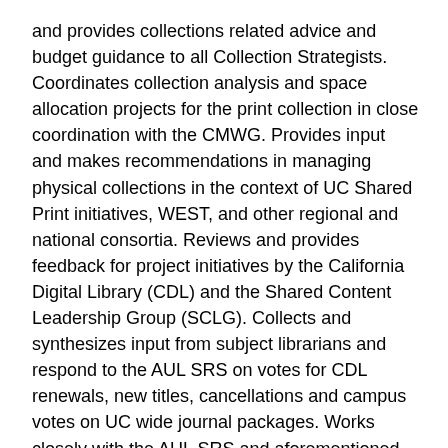and provides collections related advice and budget guidance to all Collection Strategists. Coordinates collection analysis and space allocation projects for the print collection in close coordination with the CMWG. Provides input and makes recommendations in managing physical collections in the context of UC Shared Print initiatives, WEST, and other regional and national consortia. Reviews and provides feedback for project initiatives by the California Digital Library (CDL) and the Shared Content Leadership Group (SCLG). Collects and synthesizes input from subject librarians and respond to the AUL SRS on votes for CDL renewals, new titles, cancellations and campus votes on UC wide journal packages. Works closely with the AUL SRS and aforementioned collections committees to consider and apply appropriate EDI principles to collection development.
Committees and Meetings (20%)